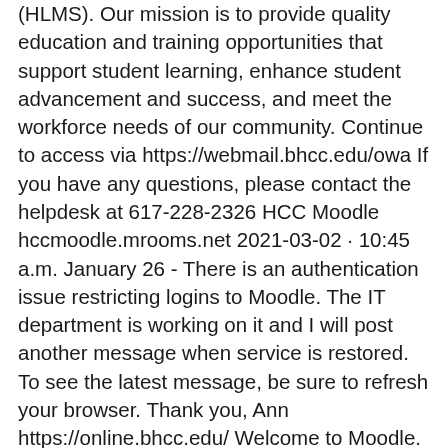(HLMS). Our mission is to provide quality education and training opportunities that support student learning, enhance student advancement and success, and meet the workforce needs of our community. Continue to access via https://webmail.bhcc.edu/owa If you have any questions, please contact the helpdesk at 617-228-2326 HCC Moodle hccmoodle.mrooms.net 2021-03-02 · 10:45 a.m. January 26 - There is an authentication issue restricting logins to Moodle. The IT department is working on it and I will post another message when service is restored. To see the latest message, be sure to refresh your browser. Thank you, Ann https://online.bhcc.edu/ Welcome to Moodle. Check out the new AIDE ePortfolio to learn more about using Moodle.